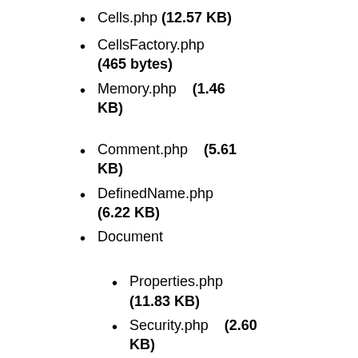Cells.php (12.57 KB)
CellsFactory.php (465 bytes)
Memory.php (1.46 KB)
Comment.php (5.61 KB)
DefinedName.php (6.22 KB)
Document
Properties.php (11.83 KB)
Security.php (2.60 KB)